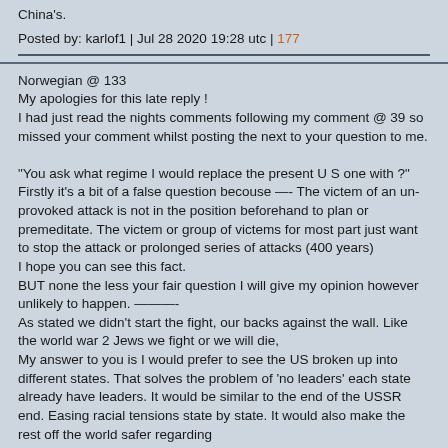China's.
Posted by: karlof1 | Jul 28 2020 19:28 utc | 177
Norwegian @ 133
My apologies for this late reply !
I had just read the nights comments following my comment @ 39 so missed your comment whilst posting the next to your question to me.

"You ask what regime I would replace the present U S one with ?"
Firstly it's a bit of a false question becouse —- The victem of an un-provoked attack is not in the position beforehand to plan or premeditate. The victem or group of victems for most part just want to stop the attack or prolonged series of attacks (400 years)
I hope you can see this fact.
BUT none the less your fair question I will give my opinion however unlikely to happen. ———-
As stated we didn't start the fight, our backs against the wall. Like the world war 2 Jews we fight or we will die,
My answer to you is I would prefer to see the US broken up into different states. That solves the problem of 'no leaders' each state already have leaders. It would be similar to the end of the USSR end. Easing racial tensions state by state. It would also make the rest off the world safer regarding